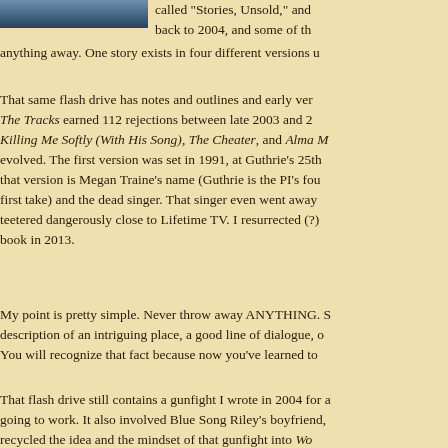[Figure (photo): Partial photo of a person visible at top left corner]
called "Stories, Unsold," and back to 2004, and some of th anything away. One story exists in four different versions u
That same flash drive has notes and outlines and early ver The Tracks earned 112 rejections between late 2003 and 2 Killing Me Softly (With His Song), The Cheater, and Alma M evolved. The first version was set in 1991, at Guthrie's 25th that version is Megan Traine's name (Guthrie is the PI's fou first take) and the dead singer. That singer even went away teetered dangerously close to Lifetime TV. I resurrected (?) book in 2013.
My point is pretty simple. Never throw away ANYTHING. S description of an intriguing place, a good line of dialogue, o You will recognize that fact because now you've learned to
That flash drive still contains a gunfight I wrote in 2004 for a going to work. It also involved Blue Song Riley's boyfriend, recycled the idea and the mindset of that gunfight into Wo